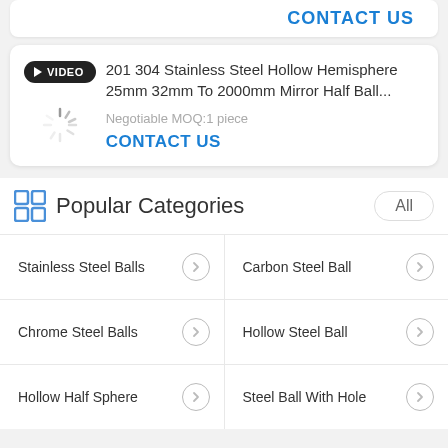CONTACT US
[Figure (screenshot): Product card with VIDEO badge, spinner/loading image thumbnail, product title '201 304 Stainless Steel Hollow Hemisphere 25mm 32mm To 2000mm Mirror Half Ball...', MOQ info, and CONTACT US link]
201 304 Stainless Steel Hollow Hemisphere 25mm 32mm To 2000mm Mirror Half Ball...
Negotiable MOQ:1 piece
CONTACT US
Popular Categories
Stainless Steel Balls
Carbon Steel Ball
Chrome Steel Balls
Hollow Steel Ball
Hollow Half Sphere
Steel Ball With Hole